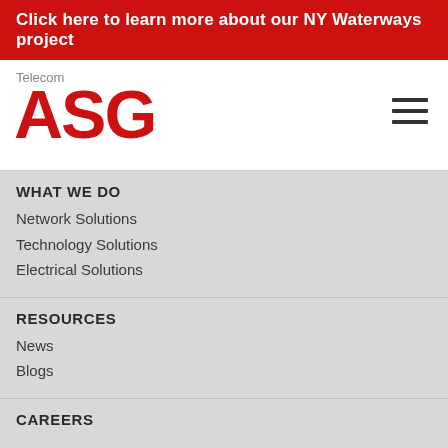Click here to learn more about our NY Waterways project
Telecom
ASG
WHAT WE DO
Network Solutions
Technology Solutions
Electrical Solutions
RESOURCES
News
Blogs
CAREERS
CONTACT US
Vendor Contact
Sales Acquisition Inbound
Locations